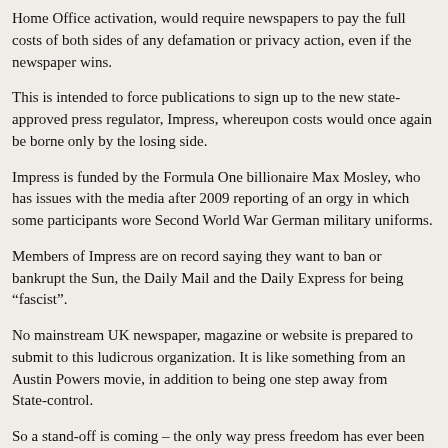Home Office activation, would require newspapers to pay the full costs of both sides of any defamation or privacy action, even if the newspaper wins.
This is intended to force publications to sign up to the new state-approved press regulator, Impress, whereupon costs would once again be borne only by the losing side.
Impress is funded by the Formula One billionaire Max Mosley, who has issues with the media after 2009 reporting of an orgy in which some participants wore Second World War German military uniforms.
Members of Impress are on record saying they want to ban or bankrupt the Sun, the Daily Mail and the Daily Express for being “fascist”.
No mainstream UK newspaper, magazine or website is prepared to submit to this ludicrous organization. It is like something from an Austin Powers movie, in addition to being one step away from State-control.
So a stand-off is coming – the only way press freedom has ever been defended – and the stakes are particularly high in Northern